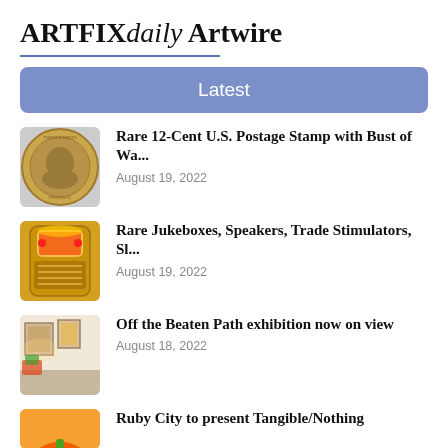ARTFIX daily Artwire
Latest
Rare 12-Cent U.S. Postage Stamp with Bust of Wa...
August 19, 2022
Rare Jukeboxes, Speakers, Trade Stimulators, Sl...
August 19, 2022
Off the Beaten Path exhibition now on view
August 18, 2022
Ruby City to present Tangible/Nothing